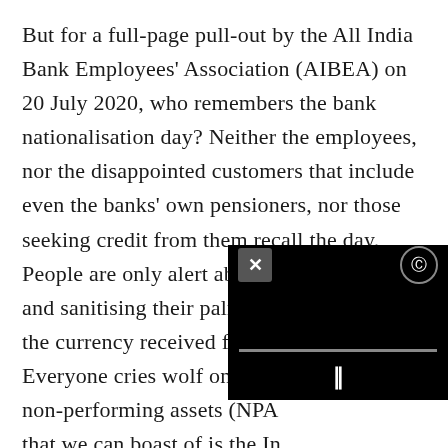But for a full-page pull-out by the All India Bank Employees' Association (AIBEA) on 20 July 2020, who remembers the bank nationalisation day? Neither the employees, nor the disappointed customers that include even the banks' own pensioners, nor those seeking credit from them recall the day. People are only alert about wearing masks and sanitising their palms before handling the currency received from outsiders. Everyone cries wolf on the ever bulging non-performing assets (NPA... that we can boast of is the Ins... Code (IBC). Job creation is h...
[Figure (screenshot): A black video player overlay with a close (X) button top-left, a settings/info icon top-right, a gray progress bar in the middle-lower area, and a pause (II) button at the bottom center.]